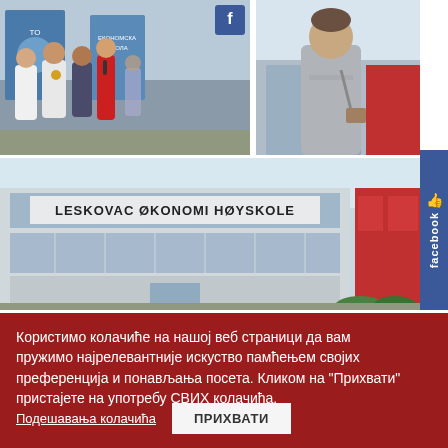[Figure (photo): Top-left photo: group of people in white coats/uniforms at an event with banners in background]
[Figure (photo): Top-right photo: man in casual grey shirt with shoulder bag outdoors]
[Figure (photo): Large bottom photo: exterior of building with sign 'LESKOVAC ØKONOMI HØYSKOLE' on facade with glass windows]
[Figure (illustration): Facebook sidebar button with thumb icon and 'facebook' text, blue background]
Користимо колачиће на нашој веб страници да вам пружимо најрелевантније искуство памћењем својих преференција и понављања посета. Кликом на "Прихвати" пристајете на употребу СВИХ колачића.
Подешавања колачића
ПРИХВАТИ